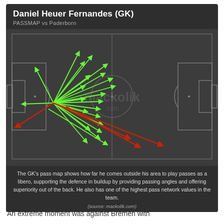Daniel Heuer Fernandes (GK)
PASSMAP vs Paderborn
[Figure (other): Football pass map on a dark soccer pitch diagram showing multiple green arrows (successful passes) and red arrows (unsuccessful passes) emanating from the goalkeeper's position in the left half. The passes show the goalkeeper coming far out of his area. Watermark reads 'mackolik.com' in center.]
The GK's pass map shows how far he comes outside his area to play passes as a libero, supporting the defence in buildup by providing passing angles and offering superiority out of the back. He also has one of the highest pass network values in the team.
(source: mackolik.com)
An extreme moment was against Bremen with